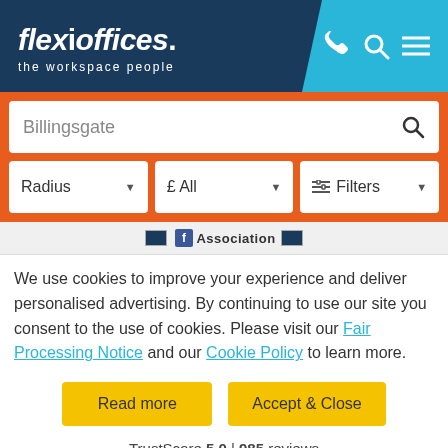[Figure (logo): Flexioffices logo with text 'flexioffices. the workspace people' on dark navy background, with phone, search and menu icons on cyan/teal right panel]
[Figure (screenshot): Orange search bar area with 'Billingsgate' search input and filter dropdowns: Radius, £ All, Filters]
[Figure (screenshot): Association bar with two blue flag icons and 'Association' text]
We use cookies to improve your experience and deliver personalised advertising. By continuing to use our site you consent to the use of cookies. Please visit our Fair Processing Notice and our Cookie Policy to learn more.
[Figure (screenshot): Two yellow buttons: 'Read more' and 'Accept & Close']
TrustScore 5.0 | 985 reviews